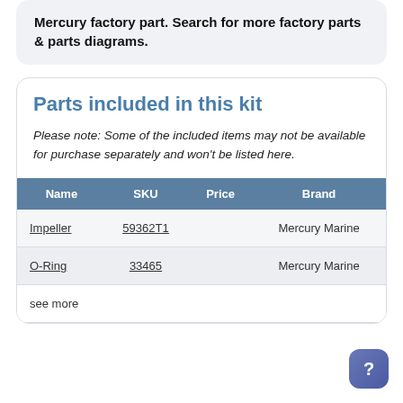Mercury factory part. Search for more factory parts & parts diagrams.
Parts included in this kit
Please note: Some of the included items may not be available for purchase separately and won't be listed here.
| Name | SKU | Price | Brand |
| --- | --- | --- | --- |
| Impeller | 59362T1 |  | Mercury Marine |
| O-Ring | 33465 |  | Mercury Marine |
see more